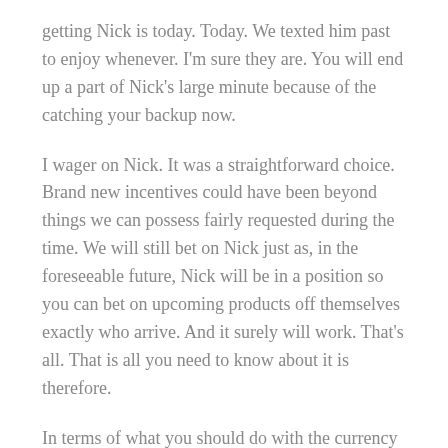getting Nick is today. Today. We texted him past to enjoy whenever. I'm sure they are. You will end up a part of Nick's large minute because of the catching your backup now.
I wager on Nick. It was a straightforward choice. Brand new incentives could have been beyond things we can possess fairly requested during the time. We will still bet on Nick just as, in the foreseeable future, Nick will be in a position so you can bet on upcoming products off themselves exactly who arrive. And it surely will work. That's all. That is all you need to know about it is therefore.
In terms of what you should do with the currency you are going and work out as a result, Nick's publication 's the the initial thing you ought to continue reading the newest procedure.
The guy appeared to dinner towards the entire Ritholtz Mafia you to evening (Tribeca